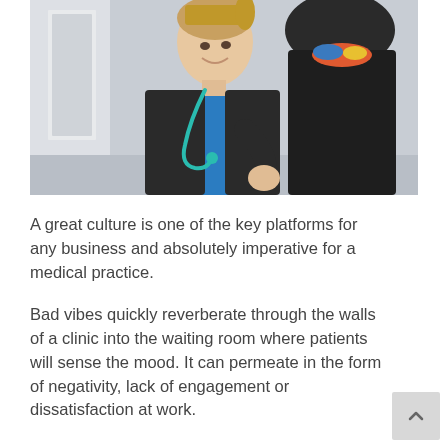[Figure (photo): A female doctor wearing a black jacket and teal stethoscope smiles while speaking with a patient whose back is to the camera. The setting appears to be a clinic hallway.]
A great culture is one of the key platforms for any business and absolutely imperative for a medical practice.
Bad vibes quickly reverberate through the walls of a clinic into the waiting room where patients will sense the mood. It can permeate in the form of negativity, lack of engagement or dissatisfaction at work.